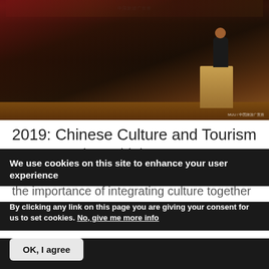[Figure (photo): A conference or lecture event scene with a speaker at a podium under a large banner/screen. Dark auditorium setting with warm wooden flooring visible. A photo credit watermark appears in the bottom right of the image.]
2019: Chinese Culture and Tourism Event at The British Museum
the importance of integrating culture together with tourism.
We use cookies on this site to enhance your user experience
By clicking any link on this page you are giving your consent for us to set cookies. No, give me more info
OK, I agree